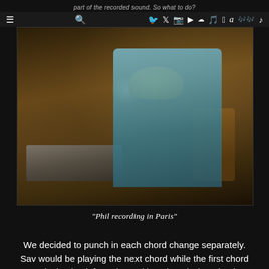part of the recorded sound. So what to do?
≡ 🔍 f 🐦 📷 ▶ ☁ 🎵 🍎 a 🎵 ♪
[Figure (photo): Phil recording in Paris — a young blonde man sitting in a recording studio, wearing a floral shirt and jeans, in front of a mixing console. Warm amber/brown tones, vintage photo.]
"Phil recording in Paris"
We decided to punch in each chord change separately. Sav would be playing the next chord while the first chord was playing back from the multi track and when the time...